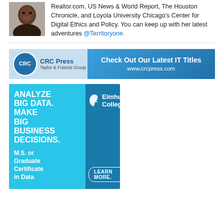[Figure (photo): Headshot photo of a woman smiling, dark background]
Realtor.com, US News & World Report, The Houston Chronicle, and Loyola University Chicago's Center for Digital Ethics and Policy. You can keep up with her latest adventures @Territoryone.
[Figure (advertisement): CRC Press banner ad: Check Out Our Latest IT Titles www.crcpress.com]
[Figure (advertisement): Elmhurst College ad: Analyze Big Data. Make Big Business Decisions. M.S. or Graduate Certificate in Data Science. Learn More.]